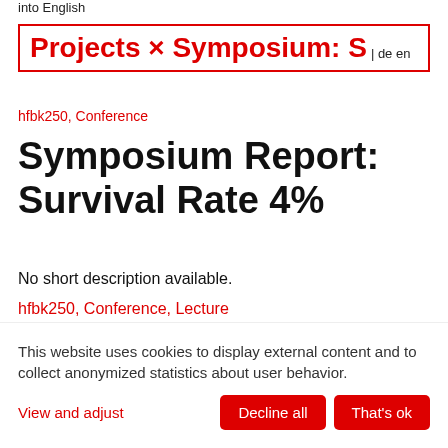into English
Projects × Symposium: S| de en
hfbk250, Conference
Symposium Report: Survival Rate 4%
No short description available.
hfbk250, Conference, Lecture
This website uses cookies to display external content and to collect anonymized statistics about user behavior.
View and adjust
Decline all   That's ok